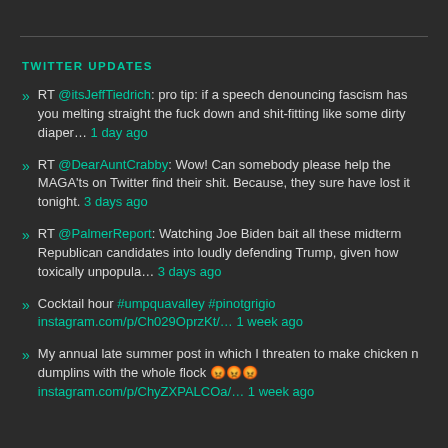TWITTER UPDATES
RT @itsJeffTiedrich: pro tip: if a speech denouncing fascism has you melting straight the fuck down and shit-fitting like some dirty diaper… 1 day ago
RT @DearAuntCrabby: Wow! Can somebody please help the MAGA'ts on Twitter find their shit. Because, they sure have lost it tonight. 3 days ago
RT @PalmerReport: Watching Joe Biden bait all these midterm Republican candidates into loudly defending Trump, given how toxically unpopula… 3 days ago
Cocktail hour #umpquavalley #pinotgrigio instagram.com/p/Ch029OprzKt/… 1 week ago
My annual late summer post in which I threaten to make chicken n dumplins with the whole flock 😡😡😡 instagram.com/p/ChyZXPALCOa/… 1 week ago